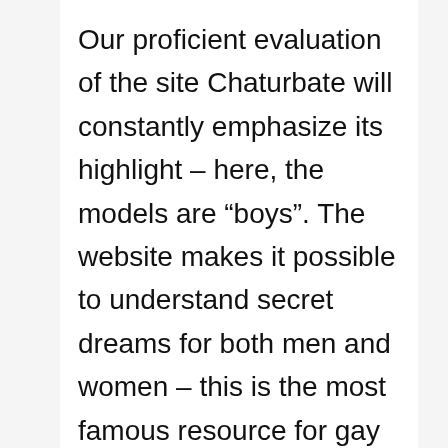Our proficient evaluation of the site Chaturbate will constantly emphasize its highlight – here, the models are "boys". The website makes it possible to understand secret dreams for both men and women – this is the most famous resource for gay ladies and men. Ladies and gentlemen take pleasure in a private chat with lovely, good-looking males with great enjoyment.
The site likewise has an easy chat. It is available and complimentary without registration however is suitable for informational functions just. You can even